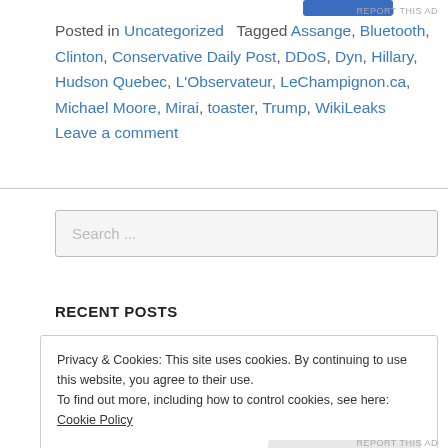[Figure (other): Blue button at top right]
REPORT THIS AD
Posted in Uncategorized   Tagged Assange, Bluetooth, Clinton, Conservative Daily Post, DDoS, Dyn, Hillary, Hudson Quebec, L'Observateur, LeChampignon.ca, Michael Moore, Mirai, toaster, Trump, WikiLeaks   Leave a comment
Search ...
RECENT POSTS
Privacy & Cookies: This site uses cookies. By continuing to use this website, you agree to their use.
To find out more, including how to control cookies, see here: Cookie Policy
Close and accept
REPORT THIS AD